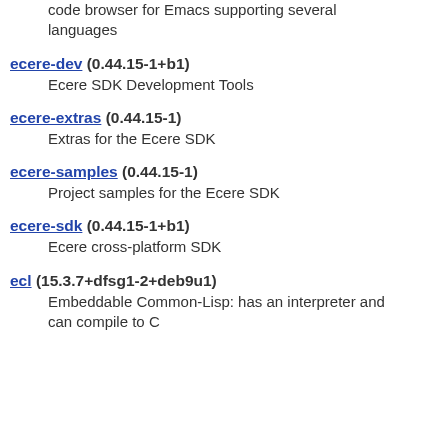code browser for Emacs supporting several languages
ecere-dev (0.44.15-1+b1)
    Ecere SDK Development Tools
ecere-extras (0.44.15-1)
    Extras for the Ecere SDK
ecere-samples (0.44.15-1)
    Project samples for the Ecere SDK
ecere-sdk (0.44.15-1+b1)
    Ecere cross-platform SDK
ecl (15.3.7+dfsg1-2+deb9u1)
    Embeddable Common-Lisp: has an interpreter and can compile to C